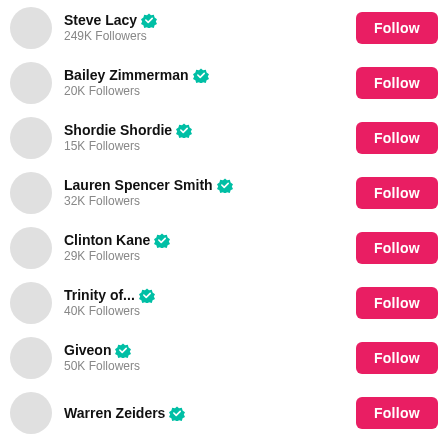Steve Lacy · 249K Followers · Follow
Bailey Zimmerman · 20K Followers · Follow
Shordie Shordie · 15K Followers · Follow
Lauren Spencer Smith · 32K Followers · Follow
Clinton Kane · 29K Followers · Follow
Trinity of... · 40K Followers · Follow
Giveon · 50K Followers · Follow
Warren Zeiders · Follow